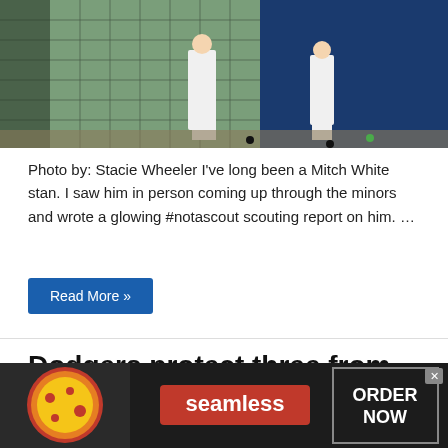[Figure (photo): Baseball batting practice photo showing players in white uniforms near a batting cage net with a dark blue tarp background]
Photo by: Stacie Wheeler I've long been a Mitch White stan. I saw him in person coming up through the minors and wrote a glowing #notascout scouting report on him. …
Read More »
Dodgers protect three from Rule 5 Draft
Alex Campos  11/20/2019
2020, DJ Peters, Mitchell White, Rule 5, Zach McKinstry
[Figure (photo): Seamless food delivery advertisement banner with pizza image on left, red Seamless logo in center, and ORDER NOW button on right]